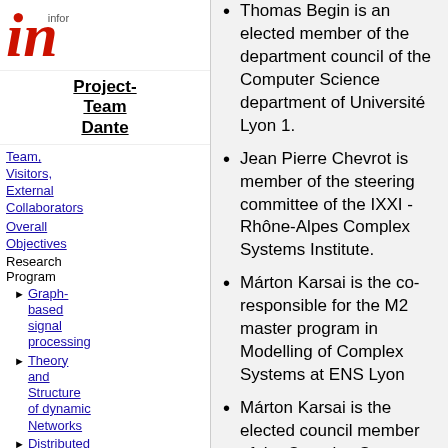[Figure (logo): Inria logo - red italic 'in' with 'infor' text beside]
Project-Team Dante
Team, Visitors, External Collaborators
Overall Objectives
Research Program
Graph-based signal processing
Theory and Structure of dynamic Networks
Distributed
Thomas Begin is an elected member of the department council of the Computer Science department of Université Lyon 1.
Jean Pierre Chevrot is member of the steering committee of the IXXI - Rhône-Alpes Complex Systems Institute.
Márton Karsai is the co-responsible for the M2 master program in Modelling of Complex Systems at ENS Lyon
Márton Karsai is the elected council member of the Complex System Society (2015-)
Márton Karsai is the elected member of executive committee of the Complex System Society (2018-)
Márton Karsai is the elected member of the steering committee of the IXXI Complex System